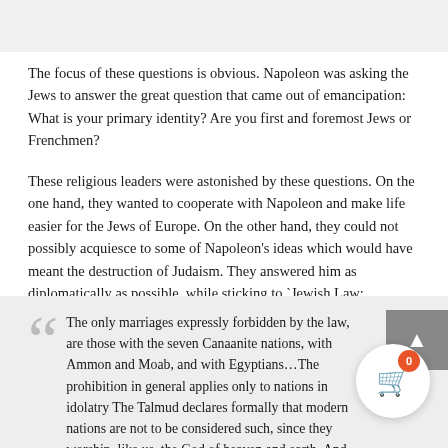The focus of these questions is obvious. Napoleon was asking the Jews to answer the great question that came out of emancipation: What is your primary identity? Are you first and foremost Jews or Frenchmen?
These religious leaders were astonished by these questions. On the one hand, they wanted to cooperate with Napoleon and make life easier for the Jews of Europe. On the other hand, they could not possibly acquiesce to some of Napoleon's ideas which would have meant the destruction of Judaism. They answered him as diplomatically as possible, while sticking to `Jewish Law:
The only marriages expressly forbidden by the law, are those with the seven Canaanite nations, with Ammon and Moab, and with Egyptians…The prohibition in general applies only to nations in idolatry The Talmud declares formally that modern nations are not to be considered such, since they worship, like us, the God of heaven and earth. And, accordingly, there have been, at several